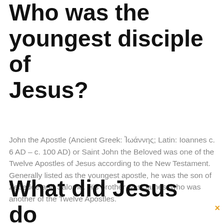Who was the youngest disciple of Jesus?
John the Apostle (Ancient Greek: Ἰωάννης; Latin: Ioannes c. 6 AD – c. 100 AD) or Saint John the Beloved was one of the Twelve Apostles of Jesus according to the New Testament. Generally listed as the youngest apostle, he was the son of Zebedee and Salome. His brother was James, who was another of the Twelve Apostles.
What did Jesus do between the age of 12…